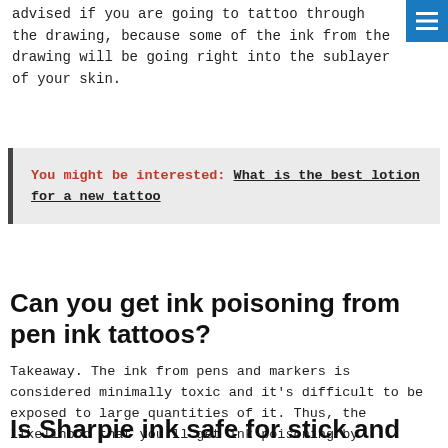advised if you are going to tattoo through the drawing, because some of the ink from the drawing will be going right into the sublayer of your skin.
You might be interested: What is the best lotion for a new tattoo
Can you get ink poisoning from pen ink tattoos?
Takeaway. The ink from pens and markers is considered minimally toxic and it’s difficult to be exposed to large quantities of it. Thus, the likelihood that you’ll get ink poisoning by ingesting ink from a pen or getting some on your skin or in your eye is slight.
Is Sharpie ink safe for stick and poke?